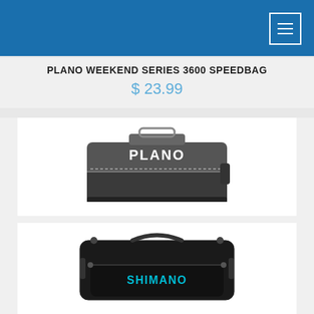PLANO WEEKEND SERIES 3600 SPEEDBAG
$ 23.99
[Figure (photo): Plano Weekend Series 3700 Speedbag - grey rectangular tackle bag with handle and Plano logo]
PLANO WEEKEND SERIES 3700 SPEEDBAG
$ 31.99
[Figure (photo): Shimano Baltica Tackle Bag - large black duffel-style bag with Shimano logo in teal]
SHIMANO BALTICA TACKLE BAGS
Sale - Save 30%